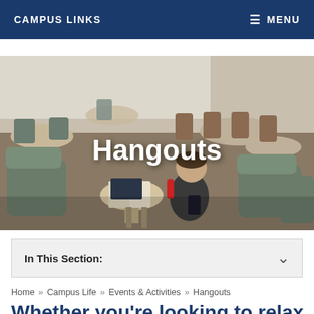CAMPUS LINKS   ≡ MENU
[Figure (photo): Student studying at a small table surrounded by green upholstered chairs in a campus lounge/common area. Multiple tables and chairs visible in the background. Text overlay reads 'Hangouts'.]
In This Section:
Home » Campus Life » Events & Activities » Hangouts
Whether you're looking to relax